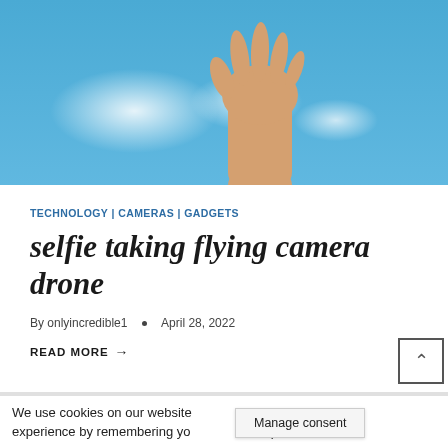[Figure (photo): A human hand reaching upward against a blue sky with white clouds]
TECHNOLOGY | CAMERAS | GADGETS
selfie taking flying camera drone
By onlyincredible1 • April 28, 2022
READ MORE →
We use cookies on our website to give you the most relevant experience by remembering your preferences and repeat